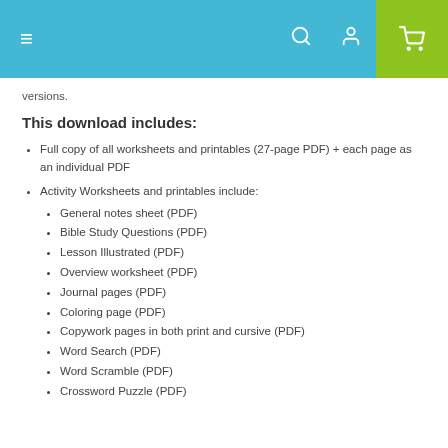Navigation header with menu, search, user, and cart icons
versions.
This download includes:
Full copy of all worksheets and printables (27-page PDF) + each page as an individual PDF
Activity Worksheets and printables include:
General notes sheet (PDF)
Bible Study Questions (PDF)
Lesson Illustrated (PDF)
Overview worksheet (PDF)
Journal pages (PDF)
Coloring page (PDF)
Copywork pages in both print and cursive (PDF)
Word Search (PDF)
Word Scramble (PDF)
Crossword Puzzle (PDF)